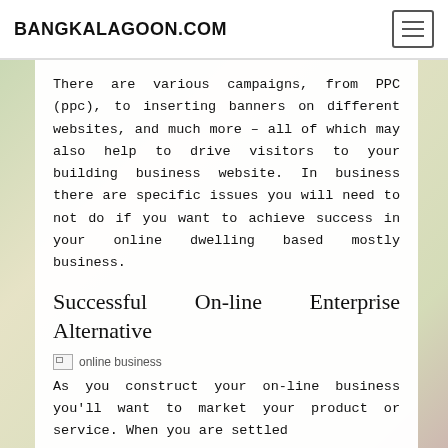BANGKALAGOON.COM
There are various campaigns, from PPC (ppc), to inserting banners on different websites, and much more – all of which may also help to drive visitors to your building business website. In business there are specific issues you will need to not do if you want to achieve success in your online dwelling based mostly business.
Successful On-line Enterprise Alternative
[Figure (photo): Broken image placeholder labeled 'online business']
As you construct your on-line business you'll want to market your product or service. When you are settled